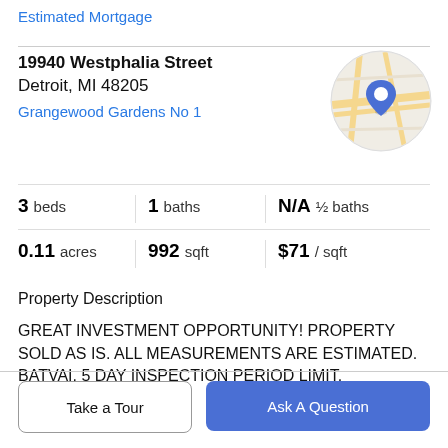Estimated Mortgage
19940 Westphalia Street
Detroit, MI 48205
Grangewood Gardens No 1
[Figure (map): Circular map thumbnail showing street map with blue location pin marker]
3 beds | 1 baths | N/A ½ baths
0.11 acres | 992 sqft | $71 / sqft
Property Description
GREAT INVESTMENT OPPORTUNITY! PROPERTY SOLD AS IS. ALL MEASUREMENTS ARE ESTIMATED. BATVAI. 5 DAY INSPECTION PERIOD LIMIT.
Take a Tour
Ask A Question